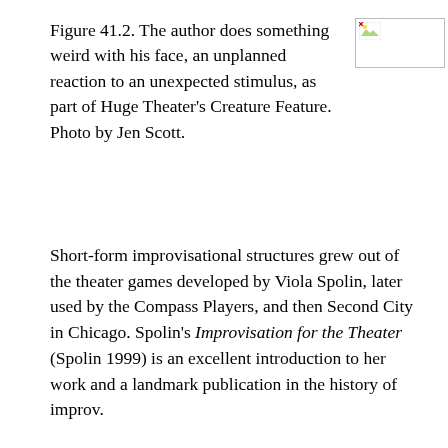Figure 41.2. The author does something weird with his face, an unplanned reaction to an unexpected stimulus, as part of Huge Theater's Creature Feature. Photo by Jen Scott.
[Figure (photo): Placeholder image thumbnail with broken image icon, representing a photo of the author making a face.]
Short-form improvisational structures grew out of the theater games developed by Viola Spolin, later used by the Compass Players, and then Second City in Chicago. Spolin's Improvisation for the Theater (Spolin 1999) is an excellent introduction to her work and a landmark publication in the history of improv.